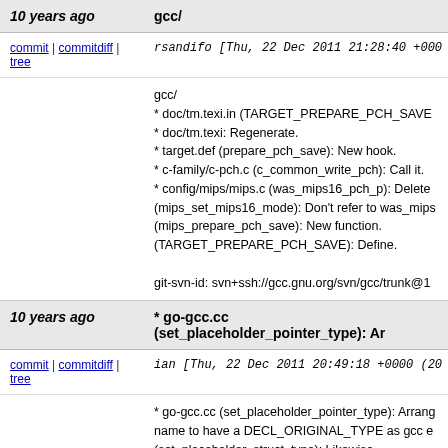| 10 years ago | gcc/ |
| commit | commitdiff | tree | rsandifo [Thu, 22 Dec 2011 21:28:40 +000 |
|  | gcc/
* doc/tm.texi.in (TARGET_PREPARE_PCH_SAVE
* doc/tm.texi: Regenerate.
* target.def (prepare_pch_save): New hook.
* c-family/c-pch.c (c_common_write_pch): Call it.
* config/mips/mips.c (was_mips16_pch_p): Delete
(mips_set_mips16_mode): Don't refer to was_mips
(mips_prepare_pch_save): New function.
(TARGET_PREPARE_PCH_SAVE): Define.

git-svn-id: svn+ssh://gcc.gnu.org/svn/gcc/trunk@1 |
| 10 years ago | * go-gcc.cc (set_placeholder_pointer_type): Ar |
| commit | commitdiff | tree | ian [Thu, 22 Dec 2011 20:49:18 +0000 (20 |
|  | * go-gcc.cc (set_placeholder_pointer_type): Arrang
name to have a DECL_ORIGINAL_TYPE as gcc e
(set_placeholder_struct_type): Likewise.
(set_placeholder_array_type): Likewise.
(named_type): Set DECL_ORIGINAL_TYPE.

git-svn-id: svn+ssh://gcc.gnu.org/svn/gcc/trunk@1 |